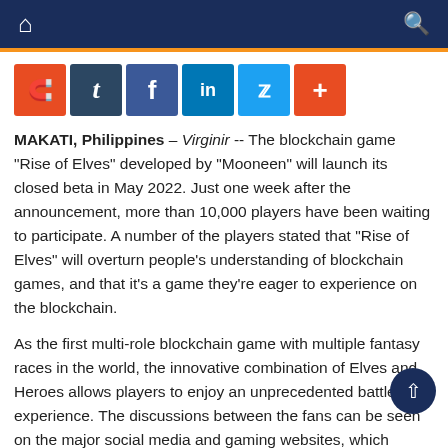Navigation bar with home and search icons
[Figure (infographic): Social media share buttons: Reddit, Tumblr, Facebook, LinkedIn, Twitter, More]
MAKATI, Philippines – Virginir -- The blockchain game "Rise of Elves" developed by "Mooneen" will launch its closed beta in May 2022. Just one week after the announcement, more than 10,000 players have been waiting to participate. A number of the players stated that "Rise of Elves" will overturn people's understanding of blockchain games, and that it's a game they're eager to experience on the blockchain.
As the first multi-role blockchain game with multiple fantasy races in the world, the innovative combination of Elves and Heroes allows players to enjoy an unprecedented battle experience. The discussions between the fans can be seen on the major social media and gaming websites, which makes "Rise of Elves" more attractive.